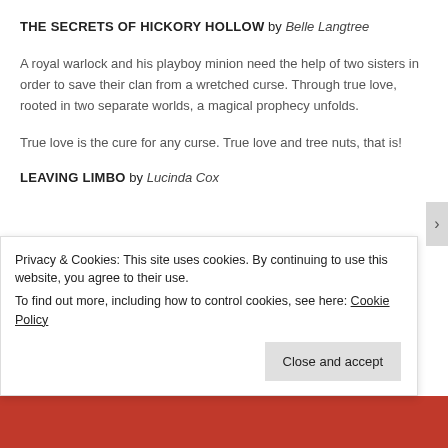THE SECRETS OF HICKORY HOLLOW by Belle Langtree
A royal warlock and his playboy minion need the help of two sisters in order to save their clan from a wretched curse. Through true love, rooted in two separate worlds, a magical prophecy unfolds.
True love is the cure for any curse. True love and tree nuts, that is!
LEAVING LIMBO by Lucinda Cox
Privacy & Cookies: This site uses cookies. By continuing to use this website, you agree to their use.
To find out more, including how to control cookies, see here: Cookie Policy
Close and accept